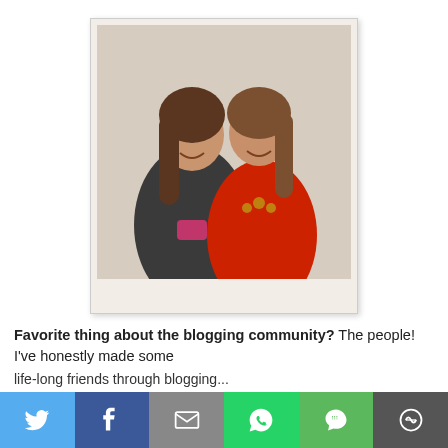[Figure (photo): Polaroid-style photo of two smiling women posing together. Left woman wearing a dark grey cardigan over a pink top with long brown hair. Right woman wearing a red long-sleeve dress with a statement necklace and straight brown hair.]
Favorite thing about the blogging community? The people! I've honestly made some [life-long friends through blogging...]
[Figure (infographic): Social sharing bar with six buttons: Twitter (blue), Facebook (dark blue), Email (grey), WhatsApp (green), SMS (green), More/share (dark grey)]